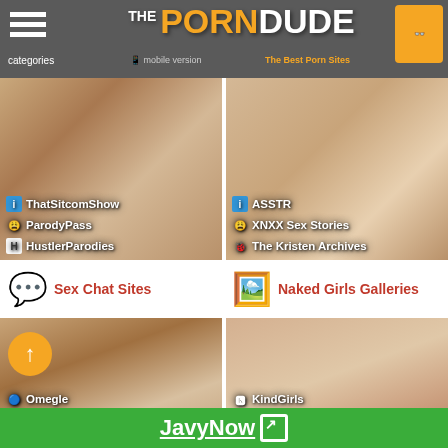The Porn Dude - The Best Porn Sites | categories | mobile version
[Figure (screenshot): Left image panel showing parody/sitcom sites with labels: ThatSitcomShow, ParodyPass, HustlerParodies]
[Figure (screenshot): Right image panel showing story sites with labels: ASSTR, XNXX Sex Stories, The Kristen Archives]
Sex Chat Sites
Naked Girls Galleries
[Figure (screenshot): Left bottom image panel showing chat sites: Omegle, Chat Avenue, FreeChatNow, iSexyChat]
[Figure (screenshot): Right bottom image panel showing gallery sites: KindGirls, Coed Cherry, Erotic Beauties, TheHun]
JavyNow